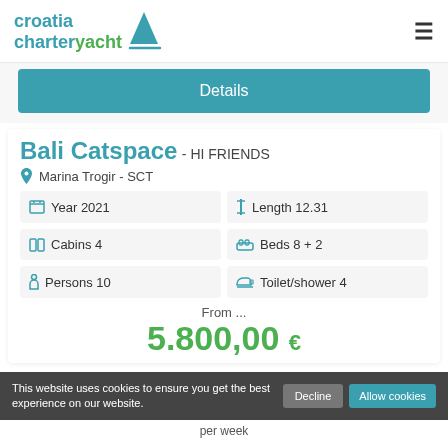croatia charteryacht
Details
Bali Catspace - HI FRIENDS
Marina Trogir - SCT
| Year 2021 | Length 12.31 |
| Cabins 4 | Beds 8 + 2 |
| Persons 10 | Toilet/shower 4 |
From ...
5.800,00 €
per week
This website uses cookies to ensure you get the best experience on our website.
Decline
Allow cookies